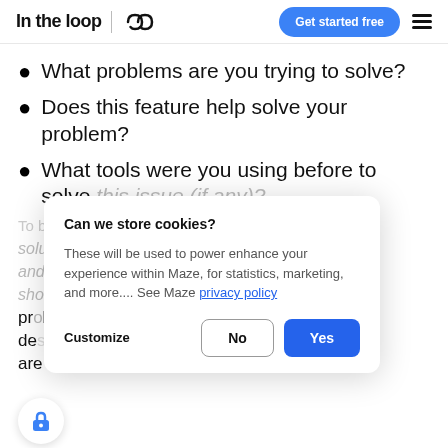In the loop | [logo icon] — Get started free [menu]
What problems are you trying to solve?
Does this feature help solve your problem?
What tools were you using before to solve this issue (if any)?
To build products and solutions Behind any solution, you must be familiar with your audience and the problem they are trying to solve. You should try to understand the nuances of the problem you're solving before you begin designing. If Instagram didn't know that people are using the Explore feature to look for
[Figure (screenshot): Cookie consent modal dialog with title 'Can we store cookies?', body text about powering Maze experience, privacy policy link, Customize label, No and Yes buttons]
[Figure (illustration): Lock icon in a white circle with drop shadow at bottom left]